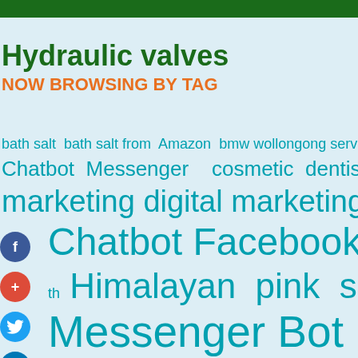Hydraulic valves
NOW BROWSING BY TAG
[Figure (infographic): Tag cloud with various tags in teal/cyan colors of varying sizes including: bath salt, bath salt from Amazon, bmw wollongong service, buy Dead Sea salt, car re-, Chatbot Messenger, cosmetic dentistry, Dead Sea salt, Dea-, marketing, digital marketing agency, exterior painting, Chatbot, Facebook Messenger Bot, Himalayan pink salt, Himalayan sal-, Messenger Bot, Pink Himalayan salt, wollongong, pool enclosures, pure Dead Sea salt, retractable pool cover, Media Marketing, web design. Social media share buttons (Facebook, Google+, Twitter, LinkedIn) overlaid on left side.]